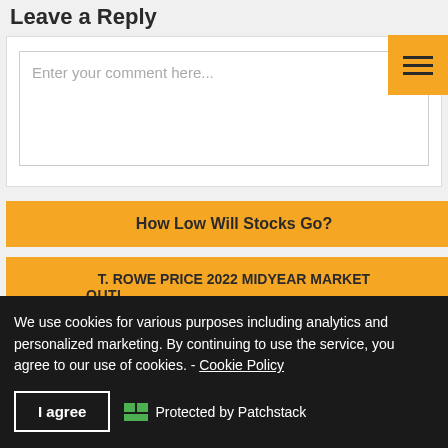Leave a Reply
Enter your comment here...
How Low Will Stocks Go?
T. ROWE PRICE 2022 MIDYEAR MARKET OUTLOOK: GLOBAL AND GEOPOLITICAL
We use cookies for various purposes including analytics and personalized marketing. By continuing to use the service, you agree to our use of cookies. - Cookie Policy
I agree
Protected by Patchstack